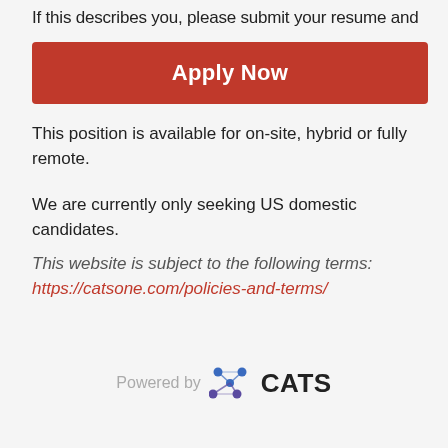If this describes you, please submit your resume and
Apply Now
This position is available for on-site, hybrid or fully remote.
We are currently only seeking US domestic candidates.
This website is subject to the following terms: https://catsone.com/policies-and-terms/
[Figure (logo): Powered by CATS logo with stylized dot network icon]